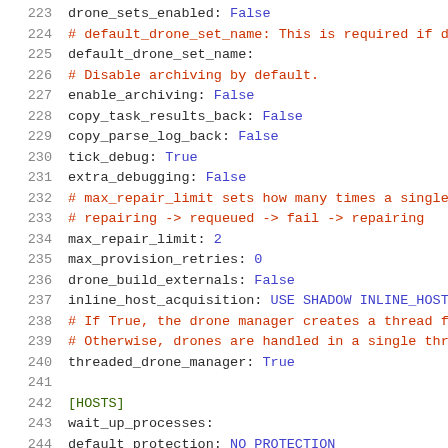223  drone_sets_enabled: False
224  # default_drone_set_name: This is required if d
225  default_drone_set_name:
226  # Disable archiving by default.
227  enable_archiving: False
228  copy_task_results_back: False
229  copy_parse_log_back: False
230  tick_debug: True
231  extra_debugging: False
232  # max_repair_limit sets how many times a single
233  # repairing -> requeued -> fail -> repairing
234  max_repair_limit: 2
235  max_provision_retries: 0
236  drone_build_externals: False
237  inline_host_acquisition: USE SHADOW INLINE_HOST_
238  # If True, the drone manager creates a thread f
239  # Otherwise, drones are handled in a single thr
240  threaded_drone_manager: True
241
242  [HOSTS]
243  wait_up_processes:
244  default_protection: NO_PROTECTION